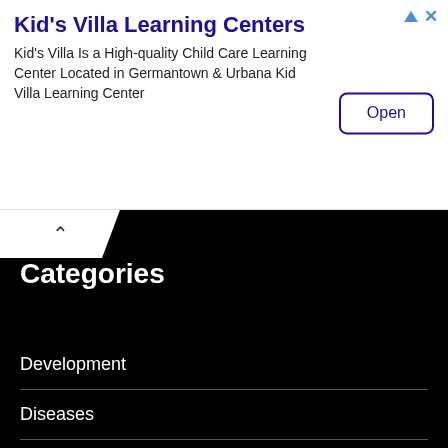Kid's Villa Learning Centers
Kid's Villa Is a High-quality Child Care Learning Center Located in Germantown & Urbana Kid Villa Learning Center
Categories
Development
Diseases
General Health
Music
Nutrition